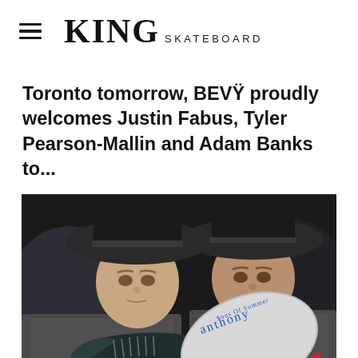KING SKATEBOARD
Toronto tomorrow, BEVŸ proudly welcomes Justin Fabus, Tyler Pearson-Mallin and Adam Banks to...
[Figure (photo): Two men wearing wide-brimmed striped hats holding up skate shoes (dark sneakers with cursive writing on the sole reading 'Anthony' and 'Sons Of Summer') in front of them]